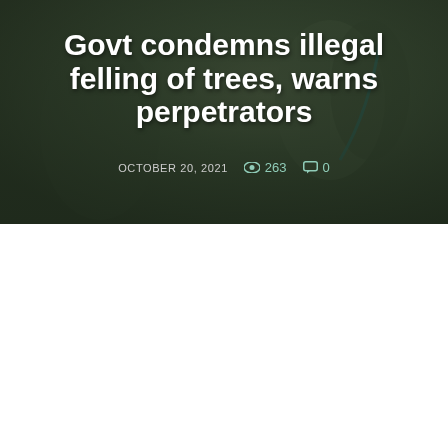[Figure (photo): Dark hero image with overlay showing military or uniformed figures in background, serving as backdrop for article headline]
Govt condemns illegal felling of trees, warns perpetrators
OCTOBER 20, 2021   263   0